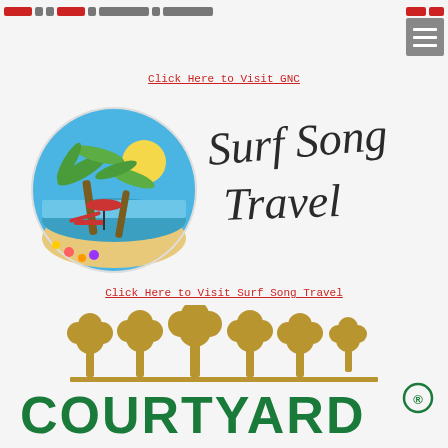[Figure (logo): Navigation bar with red pill-shaped buttons and a gray hamburger menu icon in top right]
Click Here to Visit GNC
[Figure (logo): SurfSong Travel logo with tropical beach scene globe and cursive text]
Click Here to Visit Surf Song Travel
[Figure (logo): Courtyard by Marriott logo with golden trees and green COURTYARD text with registered trademark symbol]